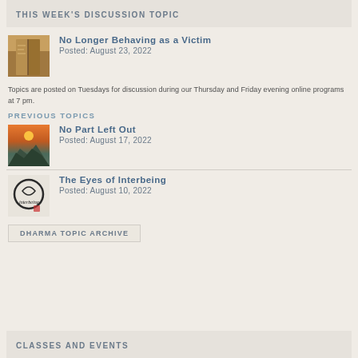THIS WEEK'S DISCUSSION TOPIC
[Figure (photo): Open book thumbnail image]
No Longer Behaving as a Victim
Posted: August 23, 2022
Topics are posted on Tuesdays for discussion during our Thursday and Friday evening online programs at 7 pm.
PREVIOUS TOPICS
[Figure (photo): Mountain sunset thumbnail image]
No Part Left Out
Posted: August 17, 2022
[Figure (photo): Interbeing circle calligraphy thumbnail image]
The Eyes of Interbeing
Posted: August 10, 2022
DHARMA TOPIC ARCHIVE
CLASSES AND EVENTS